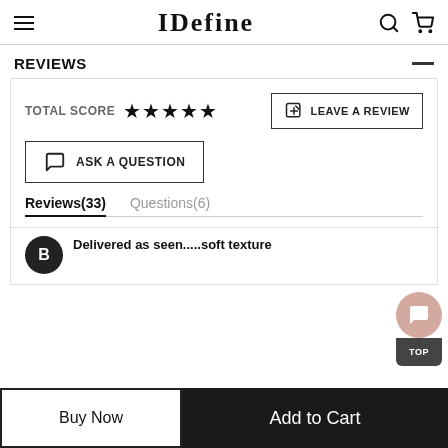IDefine
REVIEWS
TOTAL SCORE ★★★★★
LEAVE A REVIEW
ASK A QUESTION
Reviews(33)   Questions(6)
Delivered as seen.....soft texture
Buy Now
Add to Cart